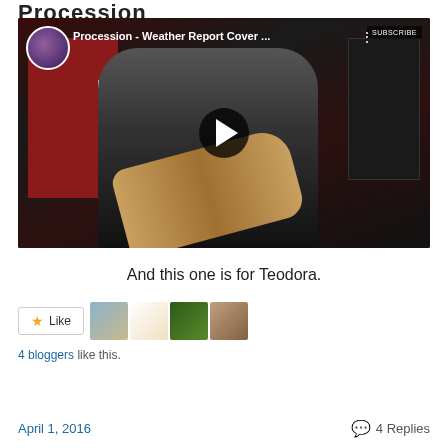[Figure (screenshot): YouTube video thumbnail showing a bearded man playing a bass guitar in a recording studio with red acoustic panels. The video is titled 'Procession - Weather Report Cover ...' with a circular channel avatar in the top left, SUBSCRIBE button top right, three-dot menu, and a play button in the center.]
And this one is for Teodora.
[Figure (other): Like button with star icon and four blogger avatar thumbnails showing a landscape, a cartoon figure, a tree, and a person's face.]
4 bloggers like this.
April 1, 2016    4 Replies